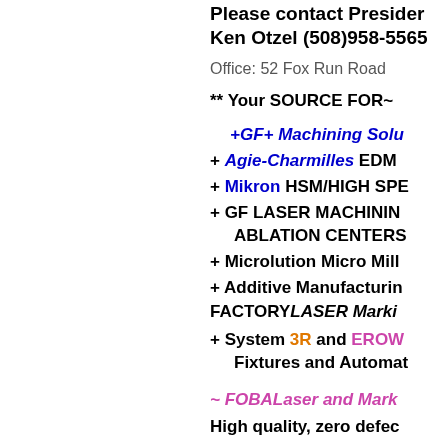Please contact President Ken Otzel (508)958-5565
Office: 52 Fox Run Road
** Your SOURCE FOR~
+GF+ Machining Solutions
+ Agie-Charmilles EDM
+ Mikron HSM/HIGH SPEED
+ GF LASER MACHINING ABLATION CENTERS
+ Microlution Micro Milling
+ Additive Manufacturing FACTORYLASER Marking
+ System 3R and EROWA Fixtures and Automation
~ FOBALaser and Marking
High quality, zero defects